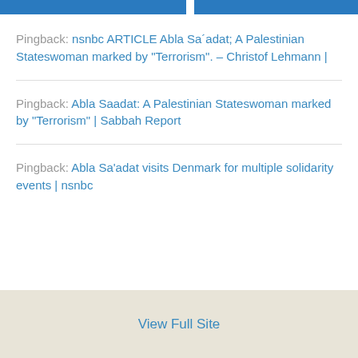Pingback: nsnbc ARTICLE Abla Sa´adat; A Palestinian Stateswoman marked by "Terrorism". – Christof Lehmann |
Pingback: Abla Saadat: A Palestinian Stateswoman marked by "Terrorism" | Sabbah Report
Pingback: Abla Sa'adat visits Denmark for multiple solidarity events | nsnbc
View Full Site